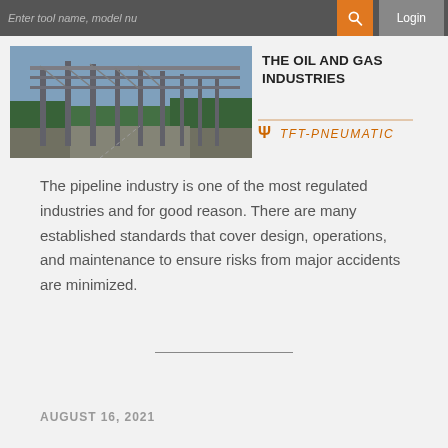Enter tool name, model nu… [search] Login
[Figure (photo): Industrial pipeline structure with large metal framework, road running alongside, trees in background]
THE OIL AND GAS INDUSTRIES
[Figure (logo): TFT Pneumatic logo with orange text and symbol]
The pipeline industry is one of the most regulated industries and for good reason. There are many established standards that cover design, operations, and maintenance to ensure risks from major accidents are minimized.
AUGUST 16, 2021